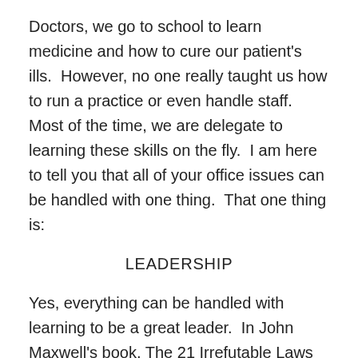Doctors, we go to school to learn medicine and how to cure our patient's ills.  However, no one really taught us how to run a practice or even handle staff.  Most of the time, we are delegate to learning these skills on the fly.  I am here to tell you that all of your office issues can be handled with one thing.  That one thing is:
LEADERSHIP
Yes, everything can be handled with learning to be a great leader.  In John Maxwell's book, The 21 Irrefutable Laws of Leadership, his first law is the law of the lid.  The law of the lid states the success of the organization is directly related to the